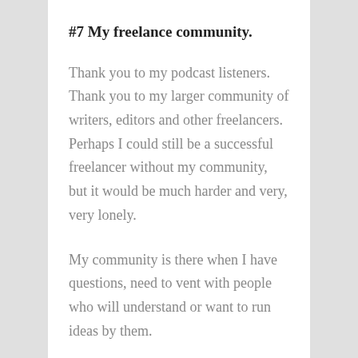#7 My freelance community.
Thank you to my podcast listeners. Thank you to my larger community of writers, editors and other freelancers. Perhaps I could still be a successful freelancer without my community, but it would be much harder and very, very lonely.
My community is there when I have questions, need to vent with people who will understand or want to run ideas by them.
I get to nerd out with other editors and share great moments in writing with other